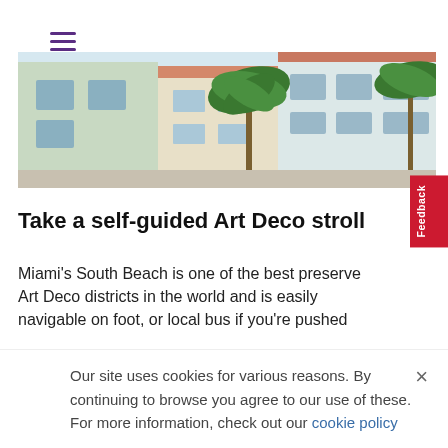☰ (hamburger menu)
[Figure (photo): Street-level photo of Miami South Beach Art Deco buildings with palm trees. Pastel-colored facades with terra-cotta roof accents, large windows, and tropical vegetation.]
Take a self-guided Art Deco stroll
Miami's South Beach is one of the best preserved Art Deco districts in the world and is easily navigable on foot, or local bus if you're pushed
Our site uses cookies for various reasons. By continuing to browse you agree to our use of these. For more information, check out our cookie policy